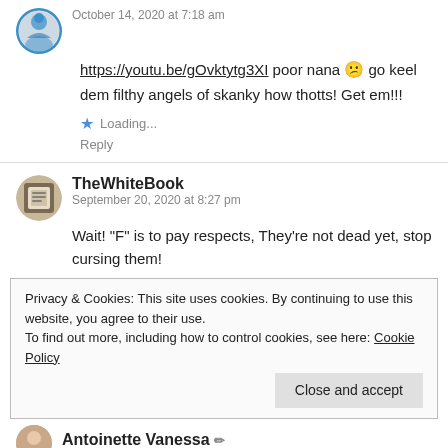October 14, 2020 at 7:18 am
https://youtu.be/gOvktytg3XI poor nana 😕 go keel dem filthy angels of skanky how thotts! Get em!!!
Loading...
Reply
TheWhiteBook
September 20, 2020 at 8:27 pm
Wait! “F” is to pay respects, They’re not dead yet, stop cursing them!
Privacy & Cookies: This site uses cookies. By continuing to use this website, you agree to their use.
To find out more, including how to control cookies, see here: Cookie Policy
Close and accept
Antoinette Vanessa